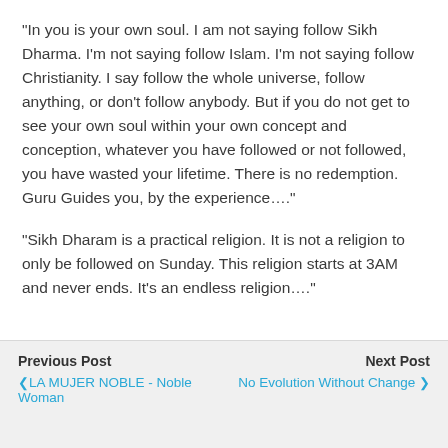"In you is your own soul. I am not saying follow Sikh Dharma. I'm not saying follow Islam. I'm not saying follow Christianity. I say follow the whole universe, follow anything, or don't follow anybody. But if you do not get to see your own soul within your own concept and conception, whatever you have followed or not followed, you have wasted your lifetime. There is no redemption. Guru Guides you, by the experience…."
"Sikh Dharam is a practical religion. It is not a religion to only be followed on Sunday. This religion starts at 3AM and never ends. It's an endless religion…."
Previous Post  ❮ LA MUJER NOBLE - Noble Woman    Next Post  No Evolution Without Change ❯